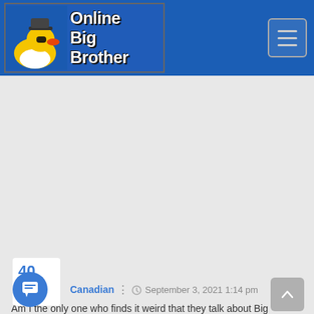Online Big Brother
[Figure (screenshot): Website screenshot showing Online Big Brother blog page with a rubber duck wearing sunglasses and a hat as logo, blue header with hamburger menu button, large gray advertisement area, comment count of 40, blue circular chat button, author 'Canadian' with share icon, date September 3, 2021 1:14 pm, and beginning of article text]
Canadian   September 3, 2021 1:14 pm
Am I the only one who finds it weird that they talk about Big